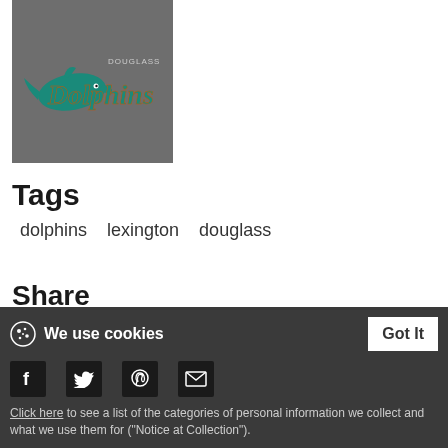[Figure (logo): Douglass Dolphins logo on a gray background — a dolphin mascot with 'Dolphins' in teal and orange script lettering and 'DOUGLASS' above in small caps]
Tags
dolphins   lexington   douglass
Share
We use cookies
Click here to see a list of the categories of personal information we collect and what we use them for ("Notice at Collection").
Privacy Policy
Do Not Sell My Personal Information
By using this website, I agree to the Terms and Conditions